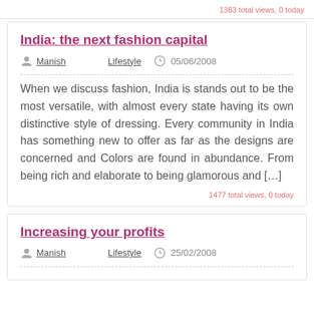1363 total views, 0 today
India: the next fashion capital
Manish   Lifestyle   05/06/2008
When we discuss fashion, India is stands out to be the most versatile, with almost every state having its own distinctive style of dressing. Every community in India has something new to offer as far as the designs are concerned and Colors are found in abundance. From being rich and elaborate to being glamorous and […]
1477 total views, 0 today
Increasing your profits
Manish   Lifestyle   25/02/2008